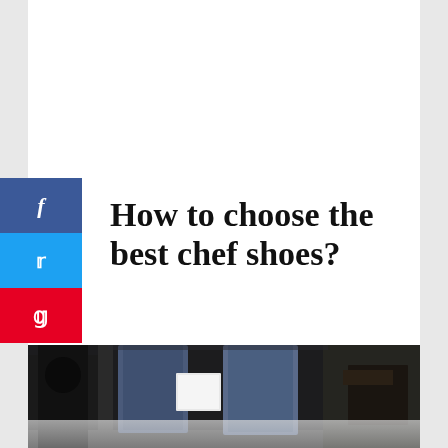[Figure (infographic): Social media share buttons: Facebook (blue), Twitter (light blue), Pinterest (red), on left sidebar]
How to choose the best chef shoes?
[Figure (photo): Photo of a person wearing jeans standing in a commercial kitchen near dark equipment, with a white label/tag visible]